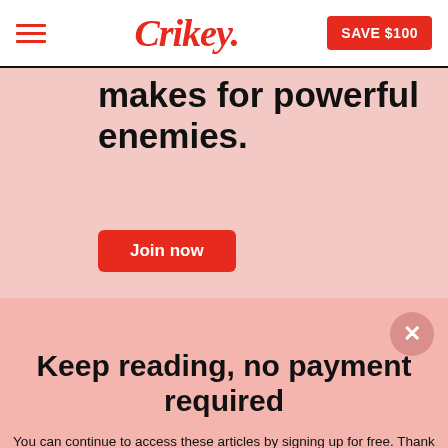Crikey.
[Figure (screenshot): Partially visible article background with bold text 'makes for powerful enemies.' and a red 'Join now' button]
Keep reading, no payment required
You can continue to access these articles by signing up for free. Thank you for supporting independent journalism.
Your email | Get access
By submitting this form, you agree to accept Crikey's terms and conditions
I'll do this later